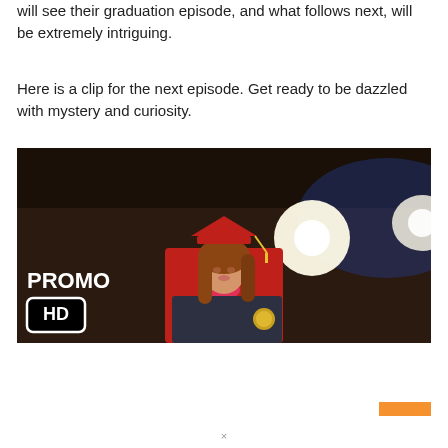will see their graduation episode, and what follows next, will be extremely intriguing.
Here is a clip for the next episode. Get ready to be dazzled with mystery and curiosity.
[Figure (photo): A young woman in a red graduation cap and gown holding a dark diploma folder, standing on a stage with bright lights behind her. Overlaid text reads 'PROMO' and 'HD' badge in bottom-left corner.]
×